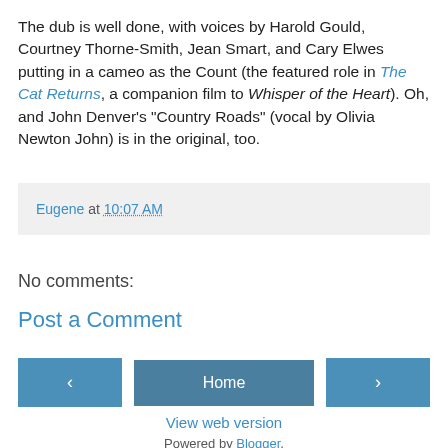The dub is well done, with voices by Harold Gould, Courtney Thorne-Smith, Jean Smart, and Cary Elwes putting in a cameo as the Count (the featured role in The Cat Returns, a companion film to Whisper of the Heart). Oh, and John Denver's "Country Roads" (vocal by Olivia Newton John) is in the original, too.
Eugene at 10:07 AM
No comments:
Post a Comment
‹
Home
›
View web version
Powered by Blogger.